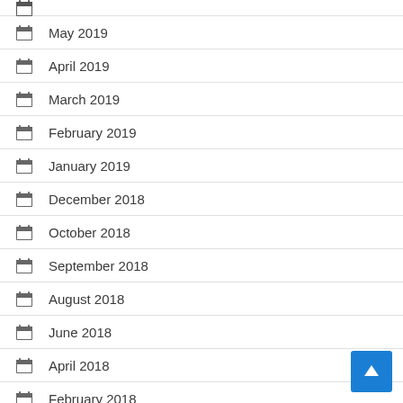May 2019
April 2019
March 2019
February 2019
January 2019
December 2018
October 2018
September 2018
August 2018
June 2018
April 2018
February 2018
December 2017